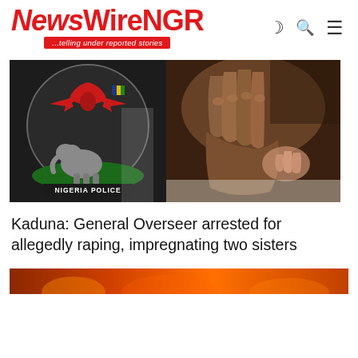NewsWireNGR ...telling under reported stories
[Figure (photo): Left: Nigeria Police badge/shield logo on dark background with eagle emblem. Right: Close-up of hands, dark-toned photo.]
Kaduna: General Overseer arrested for allegedly raping, impregnating two sisters
[Figure (photo): Bottom strip of an image showing warm orange/fire tones]